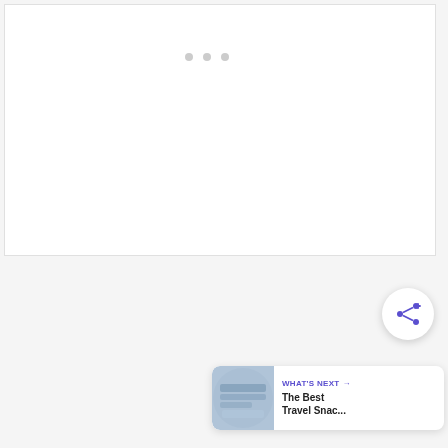[Figure (other): Large white content area with three small gray dots (loading indicator or carousel indicator) near the top center]
[Figure (other): Share button: circular white button with a purple share icon (network share symbol with a plus) at bottom right]
[Figure (other): What's Next card at bottom right: thumbnail image of travel snacks, label 'WHAT'S NEXT →', title 'The Best Travel Snac...']